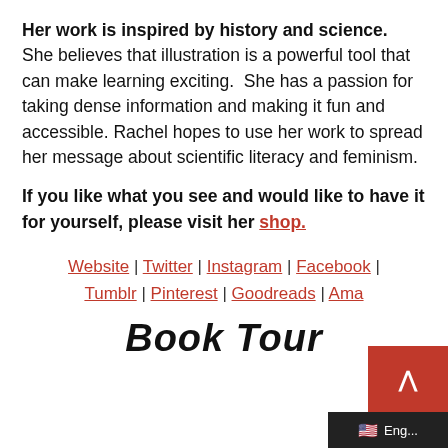Her work is inspired by history and science. She believes that illustration is a powerful tool that can make learning exciting. She has a passion for taking dense information and making it fun and accessible. Rachel hopes to use her work to spread her message about scientific literacy and feminism.
If you like what you see and would like to have it for yourself, please visit her shop.
Website | Twitter | Instagram | Facebook | Tumblr | Pinterest | Goodreads | Amazon
Book Tour